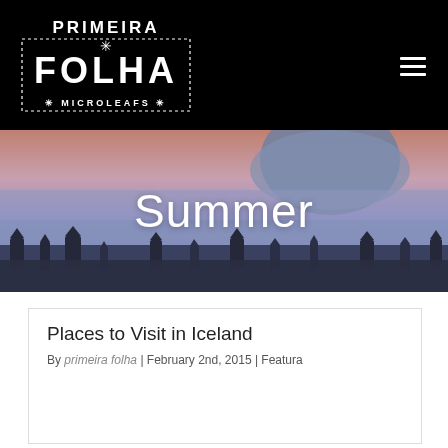Primeira Folha Microleafs
[Figure (photo): Borobudur temple landscape at dusk/dawn with misty mountains and purple-pink sky in background]
Summer
Places to Visit in Iceland
By primeira folha | February 2nd, 2015 | Featura